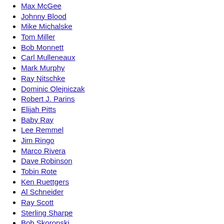Max McGee
Johnny Blood
Mike Michalske
Tom Miller
Bob Monnett
Carl Mulleneaux
Mark Murphy
Ray Nitschke
Dominic Olejniczak
Robert J. Parins
Elijah Pitts
Baby Ray
Lee Remmel
Jim Ringo
Marco Rivera
Dave Robinson
Tobin Rote
Ken Ruettgers
Al Schneider
Ray Scott
Sterling Sharpe
Bob Skoronski
Bart Starr
Jan Stenerud
Bud Svendsen